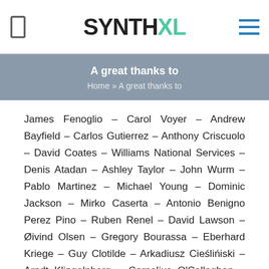SYNTHXL
A great thanks to
Home » A great thanks to
James Fenoglio – Carol Voyer – Andrew Bayfield – Carlos Gutierrez – Anthony Criscuolo – David Coates – Williams National Services – Denis Atadan – Ashley Taylor – John Wurm – Pablo Martinez – Michael Young – Dominic Jackson – Mirko Caserta – Antonio Benigno Perez Pino – Ruben Renel – David Lawson – Øivind Olsen – Gregory Bourassa – Eberhard Kriege – Guy Clotilde – Arkadiusz Cieślińiski – Arndt Klingelnberg – Cornelius O'Callaghan – Martin Denning – Mark Ensign – Luis Cruz Marinez – Edward Jones – Luc Dupille – John Shenale – Brian Averill – Robert Storms –